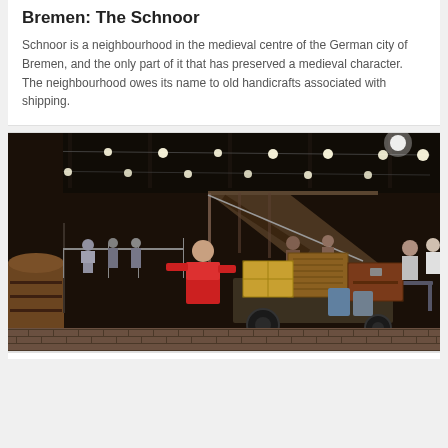Bremen: The Schnoor
Schnoor is a neighbourhood in the medieval centre of the German city of Bremen, and the only part of it that has preserved a medieval character. The neighbourhood owes its name to old handicrafts associated with shipping.
[Figure (photo): Interior of a museum or theater set depicting a historical harbor/shipping scene with barrels, luggage on a cart, people in period costumes, wooden staircases, brick floor, and atmospheric lighting with string lights overhead.]